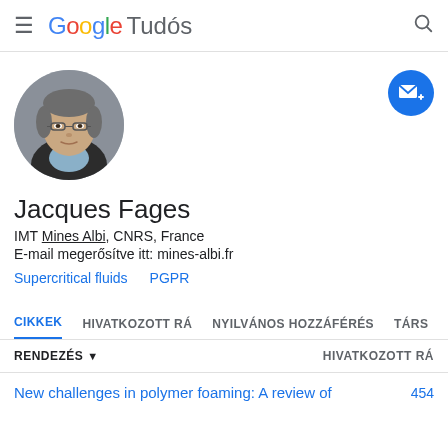Google Tudós
[Figure (photo): Circular profile photo of Jacques Fages, a middle-aged man with glasses and grey-black hair wearing a dark jacket]
Jacques Fages
IMT Mines Albi, CNRS, France
E-mail megerősítve itt: mines-albi.fr
Supercritical fluids
PGPR
CIKKEK   HIVATKOZOTT RÁ   NYILVÁNOS HOZZÁFÉRÉS   TÁRS
RENDEZÉS ▾   HIVATKOZOTT RÁ
New challenges in polymer foaming: A review of   454